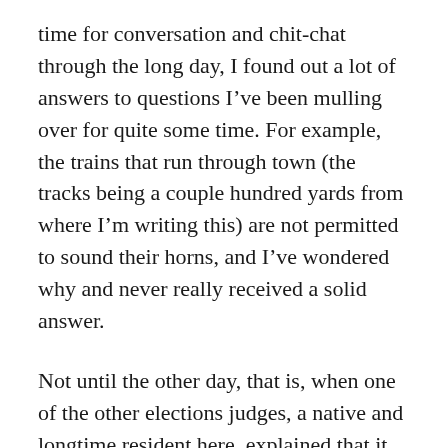time for conversation and chit-chat through the long day, I found out a lot of answers to questions I've been mulling over for quite some time. For example, the trains that run through town (the tracks being a couple hundred yards from where I'm writing this) are not permitted to sound their horns, and I've wondered why and never really received a solid answer.
Not until the other day, that is, when one of the other elections judges, a native and longtime resident here, explained that it had to do with the town's school being constantly interrupted by the blaring of train engine horns. The town and the Union Pacific had quite a battle before coming to an agreement that the horns would not be sounded if proper safety lane guards on the roads